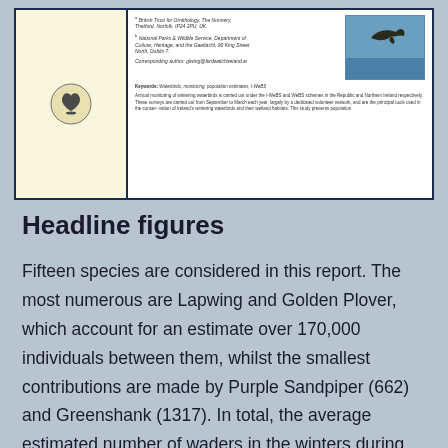[Figure (other): Preview of a scientific journal article page showing a cream/yellow left panel with a bird logo, and white right panel with affiliation text, keywords, abstract snippet, and a photo of a bird in flight over water.]
Headline figures
Fifteen species are considered in this report. The most numerous are Lapwing and Golden Plover, which account for an estimate over 170,000 individuals between them, whilst the smallest contributions are made by Purple Sandpiper (662) and Greenshank (1317). In total, the average estimated number of waders in the winters during the period 2011-16 is 429,170 birds but it should be noted that this total excludes two widespread and common species – Woodcock and Snipe – as well as the enigmatic Jack